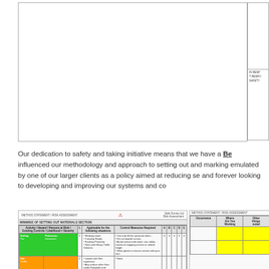[Figure (engineering-diagram): Engineering/technical drawing area (upper portion of page), largely blank white field with border, representing a document or plan drawing. A small title block is visible on the far right edge.]
Our dedication to safety and taking initiative means that we have a Best Practice influenced our methodology and approach to setting out and marking out, which has been emulated by one of our larger clients as a policy aimed at reducing serious accidents and forever looking to developing and improving our systems and controls.
[Figure (table-as-image): Bottom section showing two document images side by side. The left image is titled 'MINIMISE OF SETTING OUT MATERIALS SECTION' and contains a risk assessment or method statement table with green-highlighted rows, columns for hazards/controls, and bullet-pointed control measures. A warning triangle icon appears at the top centre. The right image shows a similar document with yellow-highlighted cells and columns for risk assessment criteria.]